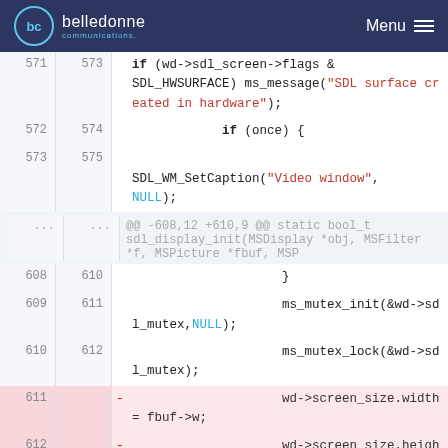belledonne communications — Menu
[Figure (screenshot): Code diff viewer showing changes to SDL display init function. Lines 571-614 shown with old/new line numbers, deleted lines highlighted in pink. Code includes SDL surface flags check, mutex init/lock calls, and removal of screen_size width/height assignments.]